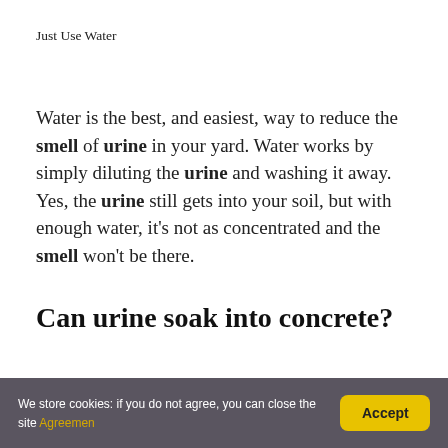Just Use Water
Water is the best, and easiest, way to reduce the smell of urine in your yard. Water works by simply diluting the urine and washing it away. Yes, the urine still gets into your soil, but with enough water, it's not as concentrated and the smell won't be there.
Can urine soak into concrete?
We store cookies: if you do not agree, you can close the site Agreemen